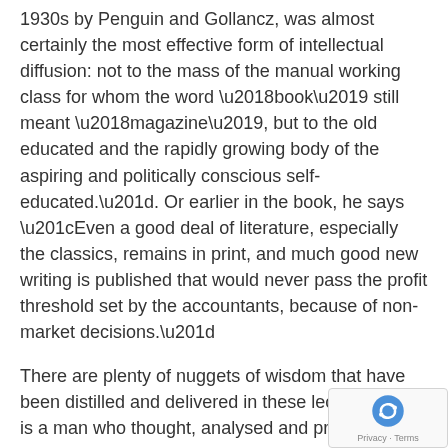1930s by Penguin and Gollancz, was almost certainly the most effective form of intellectual diffusion: not to the mass of the manual working class for whom the word ‘book’ still meant ‘magazine’, but to the old educated and the rapidly growing body of the aspiring and politically conscious self-educated.”. Or earlier in the book, he says “Even a good deal of literature, especially the classics, remains in print, and much good new writing is published that would never pass the profit threshold set by the accountants, because of non-market decisions.”
There are plenty of nuggets of wisdom that have been distilled and delivered in these lectures. Here is a man who thought, analysed and presented with confidence. Every single